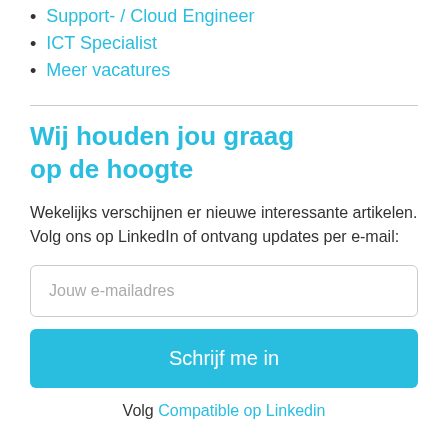Support- / Cloud Engineer
ICT Specialist
Meer vacatures
Wij houden jou graag op de hoogte
Wekelijks verschijnen er nieuwe interessante artikelen. Volg ons op LinkedIn of ontvang updates per e-mail:
Jouw e-mailadres
Schrijf me in
Volg Compatible op Linkedin